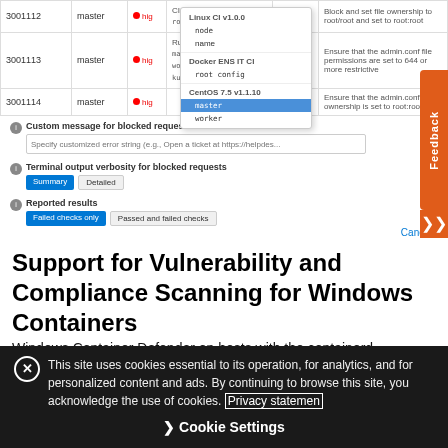[Figure (screenshot): Screenshot of a security scanning configuration UI showing table rows with IDs 3001112, 3001113, 3001114 each with 'master' branch, high severity indicators, and a dropdown menu showing options like 'CIS master', 'root config', 'Rule-new 1.20.2/1.14', 'master', 'worker', 'kubernetes', 'Linux CI v1.0.0', 'node', 'name', 'Docker ENS IT CI', 'root config', 'CentOS 7.5 v1.1.10', 'master' (selected/highlighted), 'worker'. Below the table are form fields: 'Custom message for blocked requests', 'Terminal output verbosity for blocked requests' with Summary and Detailed buttons, 'Reported results' with Failed checks only and Passed and failed checks buttons, and a Cancel link.]
Support for Vulnerability and Compliance Scanning for Windows Containers
Windows Container Defender on hosts with the containerd runtime can now scan Windows containers for vulnerabilities and compliance issues. This is supported on AKS only.
This site uses cookies essential to its operation, for analytics, and for personalized content and ads. By continuing to browse this site, you acknowledge the use of cookies. Privacy statement
Cookie Settings